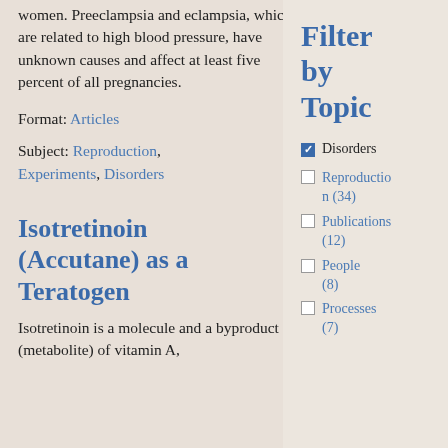women. Preeclampsia and eclampsia, which are related to high blood pressure, have unknown causes and affect at least five percent of all pregnancies.
Format: Articles
Subject: Reproduction, Experiments, Disorders
Isotretinoin (Accutane) as a Teratogen
Isotretinoin is a molecule and a byproduct (metabolite) of vitamin A,
Filter by Topic
Disorders (checked)
Reproduction (34)
Publications (12)
People (8)
Processes (7)